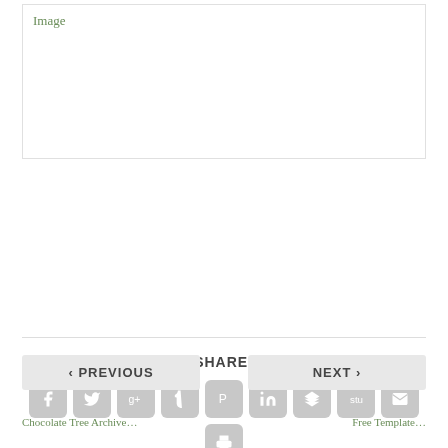[Figure (other): Image placeholder box with 'Image' label in green serif font]
SHARE:
[Figure (infographic): Social share icons: Facebook, Twitter, Google+, Tumblr, Pinterest, LinkedIn, Buffer, StumbleUpon, Email, Print]
RATE: 5 star rating icons
< PREVIOUS    NEXT >
Chocolate Tree Archive... / Free Template...